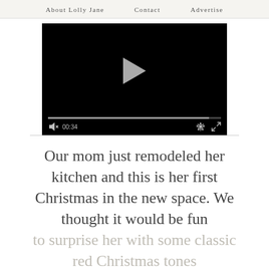About Lolly Jane   Contact   Advertise
[Figure (screenshot): Video player with black background, play button, progress bar, mute icon, time display 00:34, settings gear icon, and fullscreen icon]
Our mom just remodeled her kitchen and this is her first Christmas in the new space. We thought it would be fun to surprise her with some classic red Christmas tones